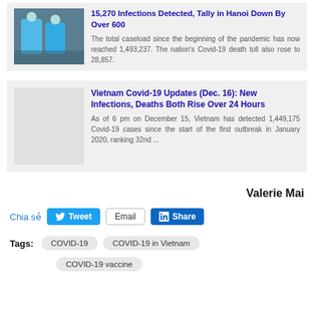[Figure (photo): Healthcare workers in blue protective suits]
15,270 Infections Detected, Tally in Hanoi Down By Over 600
The total caseload since the beginning of the pandemic has now reached 1,493,237. The nation's Covid-19 death toll also rose to 28,857.
Vietnam Covid-19 Updates (Dec. 16): New Infections, Deaths Both Rise Over 24 Hours
As of 6 pm on December 15, Vietnam has detected 1,449,175 Covid-19 cases since the start of the first outbreak in January 2020, ranking 32nd ...
Valerie Mai
Chia sẻ  Tweet  Email  Share
Tags: COVID-19  COVID-19 in Vietnam  COVID-19 vaccine